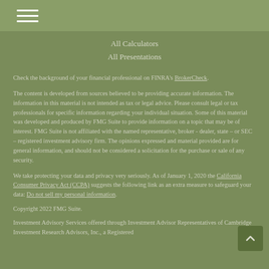All Calculators
All Presentations
Check the background of your financial professional on FINRA's BrokerCheck.
The content is developed from sources believed to be providing accurate information. The information in this material is not intended as tax or legal advice. Please consult legal or tax professionals for specific information regarding your individual situation. Some of this material was developed and produced by FMG Suite to provide information on a topic that may be of interest. FMG Suite is not affiliated with the named representative, broker - dealer, state – or SEC – registered investment advisory firm. The opinions expressed and material provided are for general information, and should not be considered a solicitation for the purchase or sale of any security.
We take protecting your data and privacy very seriously. As of January 1, 2020 the California Consumer Privacy Act (CCPA) suggests the following link as an extra measure to safeguard your data: Do not sell my personal information.
Copyright 2022 FMG Suite.
Investment Advisory Services offered through Investment Advisor Representatives of Cambridge Investment Research Advisors, Inc., a Registered